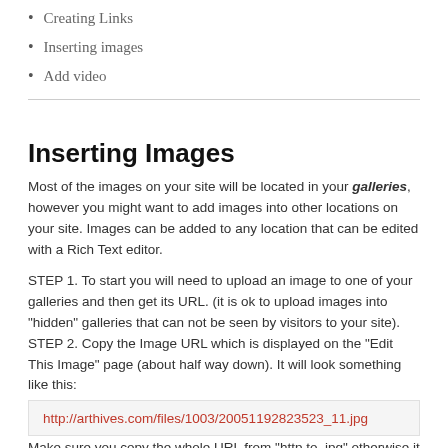Creating Links
Inserting images
Add video
Inserting Images
Most of the images on your site will be located in your galleries, however you might want to add images into other locations on your site. Images can be added to any location that can be edited with a Rich Text editor.
STEP 1. To start you will need to upload an image to one of your galleries and then get its URL. (it is ok to upload images into "hidden" galleries that can not be seen by visitors to your site).
STEP 2. Copy the Image URL which is displayed on the "Edit This Image" page (about half way down). It will look something like this:
http://arthives.com/files/1003/20051192823523_11.jpg
Make sure you copy the whole URL from "http to .jpg" otherwise it